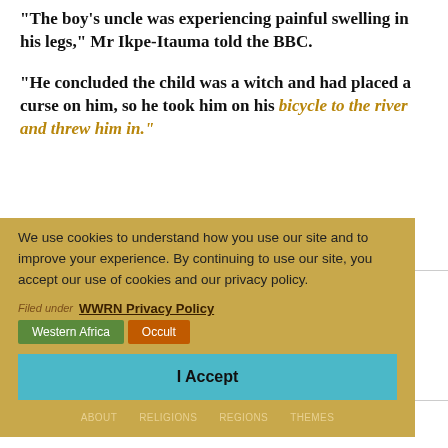"The boy's uncle was experiencing painful swelling in his legs," Mr Ikpe-Itauma told the BBC.
"He concluded the child was a witch and had placed a curse on him, so he took him on his bicycle to the river and threw him in."
We use cookies to understand how you use our site and to improve your experience. By continuing to use our site, you accept our use of cookies and our privacy policy.
Filed under
WWRN Privacy Policy
Western Africa   Occult
I Accept
ABOUT   RELIGIONS   REGIONS   THEMES